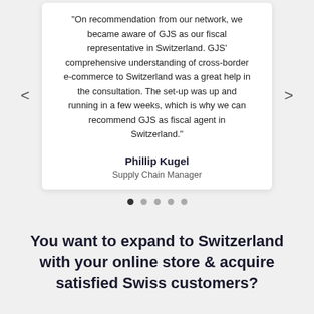"On recommendation from our network, we became aware of GJS as our fiscal representative in Switzerland. GJS' comprehensive understanding of cross-border e-commerce to Switzerland was a great help in the consultation. The set-up was up and running in a few weeks, which is why we can recommend GJS as fiscal agent in Switzerland."
Phillip Kugel
Supply Chain Manager
You want to expand to Switzerland with your online store & acquire satisfied Swiss customers?